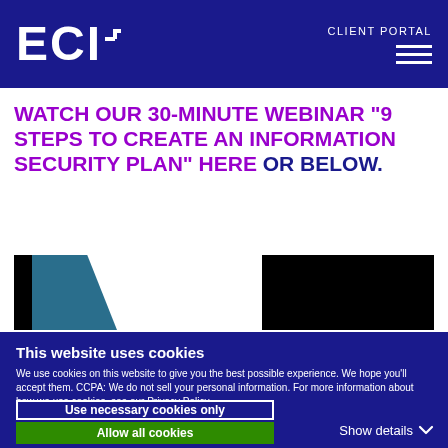ECI+ CLIENT PORTAL
WATCH OUR 30-MINUTE WEBINAR "9 STEPS TO CREATE AN INFORMATION SECURITY PLAN" HERE OR BELOW.
[Figure (screenshot): Video thumbnail showing a dark presentation slide with a teal/blue shape on the left side and white background area in the center-right.]
This website uses cookies
We use cookies on this website to give you the best possible experience. We hope you'll accept them. CCPA: We do not sell your personal information. For more information about how we use cookies, see our Privacy Policy.
Use necessary cookies only
Allow all cookies
Show details